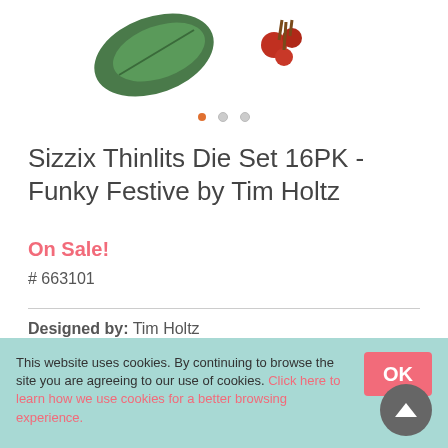[Figure (illustration): Partial product image showing decorative leaf/holly die cut elements on white background]
[Figure (other): Carousel navigation dots: one filled orange, two grey]
Sizzix Thinlits Die Set 16PK - Funky Festive by Tim Holtz
On Sale!
# 663101
Designed by: Tim Holtz
£17.99- £5.40
Qty  1
This website uses cookies. By continuing to browse the site you are agreeing to our use of cookies. Click here to learn how we use cookies for a better browsing experience.